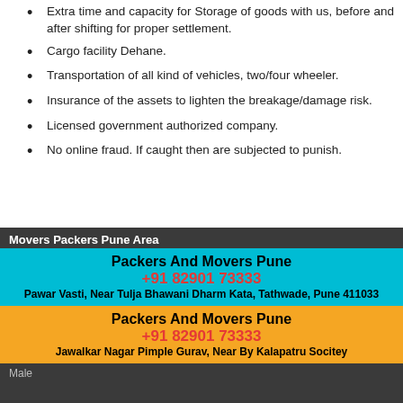Extra time and capacity for Storage of goods with us, before and after shifting for proper settlement.
Cargo facility Dehane.
Transportation of all kind of vehicles, two/four wheeler.
Insurance of the assets to lighten the breakage/damage risk.
Licensed government authorized company.
No online fraud. If caught then are subjected to punish.
Movers Packers Pune Area
Packers And Movers Pune
+91 82901 73333
Pawar Vasti, Near Tulja Bhawani Dharm Kata, Tathwade, Pune 411033
Packers And Movers Pune
+91 82901 73333
Jawalkar Nagar Pimple Gurav, Near By Kalapatru Socitey
Male